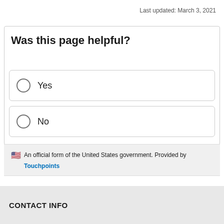Last updated: March 3, 2021
Was this page helpful?
Yes
No
An official form of the United States government. Provided by Touchpoints
CONTACT INFO